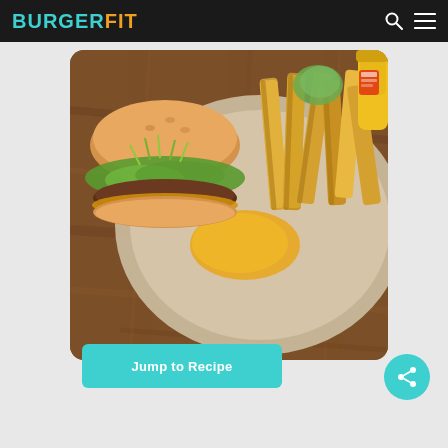BURGERFIT
[Figure (photo): A burger with lettuce and sprouts on a plate with crinkle-cut french fries and a dipping sauce, on a wooden table with a mustard bottle in the background]
Jump to Recipe